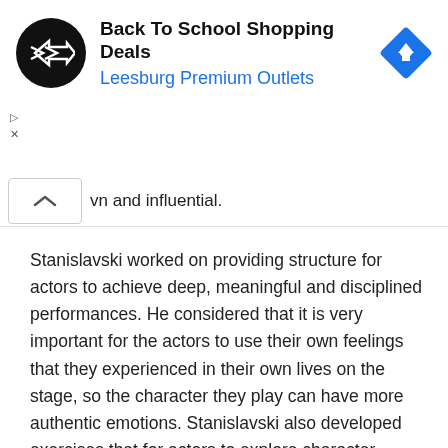[Figure (screenshot): Advertisement banner for Back To School Shopping Deals at Leesburg Premium Outlets, showing a black circular logo with double arrow icon, bold title text, blue subtitle, and a blue diamond-shaped navigation icon on the right. Small play and close controls on the left side.]
vn and influential.
Stanislavski worked on providing structure for actors to achieve deep, meaningful and disciplined performances. He considered that it is very important for the actors to use their own feelings that they experienced in their own lives on the stage, so the character they play can have more authentic emotions. Stanislavski also developed exercises that for actors to explore character motivations, giving performances depth and an unassuming naturalism .This technique is known as the “Stanislavski method” or just “the Method.”